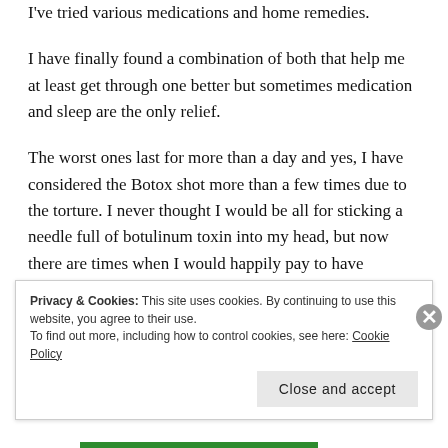I've tried various medications and home remedies.
I have finally found a combination of both that help me at least get through one better but sometimes medication and sleep are the only relief.
The worst ones last for more than a day and yes, I have considered the Botox shot more than a few times due to the torture. I never thought I would be all for sticking a needle full of botulinum toxin into my head, but now there are times when I would happily pay to have someone shoot me up if it got rid th...
Privacy & Cookies: This site uses cookies. By continuing to use this website, you agree to their use.
To find out more, including how to control cookies, see here: Cookie Policy
Close and accept